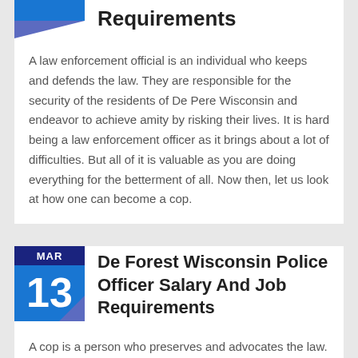Requirements
A law enforcement official is an individual who keeps and defends the law. They are responsible for the security of the residents of De Pere Wisconsin and endeavor to achieve amity by risking their lives. It is hard being a law enforcement officer as it brings about a lot of difficulties. But all of it is valuable as you are doing everything for the betterment of all. Now then, let us look at how one can become a cop.
De Forest Wisconsin Police Officer Salary And Job Requirements
A cop is a person who preserves and advocates the law. They are responsible for the protection of the inhabitants of De Forest Wisconsin and make every effort to achieve